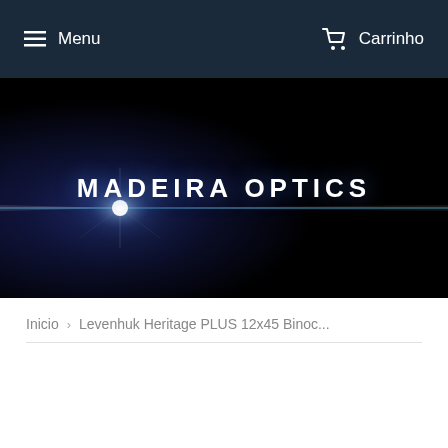Menu   Carrinho
[Figure (illustration): Madeira Optics hero banner with dark blue-black background, a bright lens flare/star burst light effect on the left side, a thin blue horizontal line across the middle, and the text MADEIRA OPTICS centered in white bold uppercase letters.]
Inicio  >  Levenhuk Heritage PLUS 12x45 Binoc...